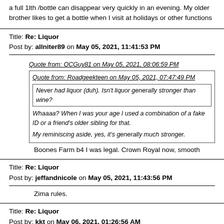a full 1lth /bottle can disappear very quickly in an evening. My older brother likes to get a bottle when I visit at holidays or other functions
Title: Re: Liquor
Post by: allniter89 on May 05, 2021, 11:41:53 PM
Quote from: OCGuy81 on May 05, 2021, 08:06:59 PM
  Quote from: Roadgeekteen on May 05, 2021, 07:47:49 PM
    Never had liquor (duh). Isn't liquor generally stronger than wine?
  Whaaaa? When I was your age I used a combination of a fake ID or a friend's older sibling for that.
  My reminiscing aside, yes, it's generally much stronger.
Boones Farm b4 I was legal. Crown Royal now, smooth
Title: Re: Liquor
Post by: jeffandnicole on May 05, 2021, 11:43:56 PM
Zima rules.
Title: Re: Liquor
Post by: kkt on May 06, 2021, 01:26:56 AM
Quote from: csw on May 05, 2021, 07:16:07 PM
  Liquor? I hardly know her.